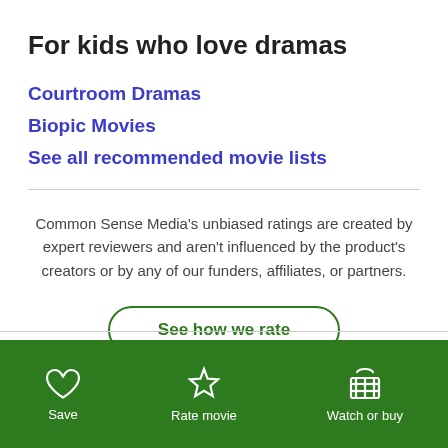For kids who love dramas
Courtroom Dramas
Biopic Movies
See all recommended movie lists
Common Sense Media's unbiased ratings are created by expert reviewers and aren't influenced by the product's creators or by any of our funders, affiliates, or partners.
See how we rate
Save | Rate movie | Watch or buy